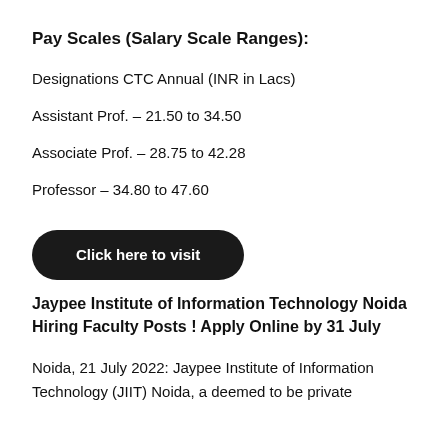Pay Scales (Salary Scale Ranges):
Designations CTC Annual (INR in Lacs)
Assistant Prof. – 21.50 to 34.50
Associate Prof. – 28.75 to 42.28
Professor – 34.80 to 47.60
[Figure (other): Black pill-shaped button with white bold text 'Click here to visit']
Jaypee Institute of Information Technology Noida Hiring Faculty Posts ! Apply Online by 31 July
Noida, 21 July 2022: Jaypee Institute of Information Technology (JIIT) Noida, a deemed to be private university, has announced Recruitment of Faculty Posts...